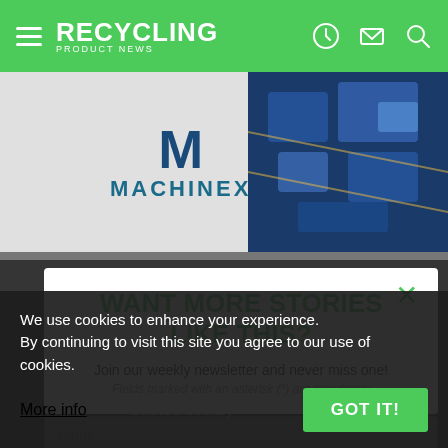RECYCLING PRODUCT NEWS
[Figure (logo): Machinex logo with large M and company name, on grey background with blue 3D machinery image on the right]
WANT MORE STORIES LIKE THIS?
Join our weekly newsletter and never miss one!
Fields marked with an asterisk (*) are mandatory
Email address
Name
Select a Country
We use cookies to enhance your experience. By continuing to visit this site you agree to our use of cookies.
More info
GOT IT!